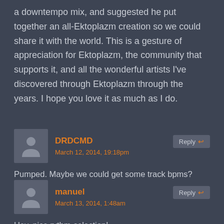a downtempo mix, and suggested he put together an all-Ektoplazm creation so we could share it with the world. This is a gesture of appreciation for Ektoplazm, the community that supports it, and all the wonderful artists I've discovered through Ektoplazm through the years. I hope you love it as much as I do.
DRDCMD
March 12, 2014, 19:18pm
Pumped. Maybe we could get some track bpms?
manuel
March 13, 2014, 1:48am
Hey, nice rythm-selection!